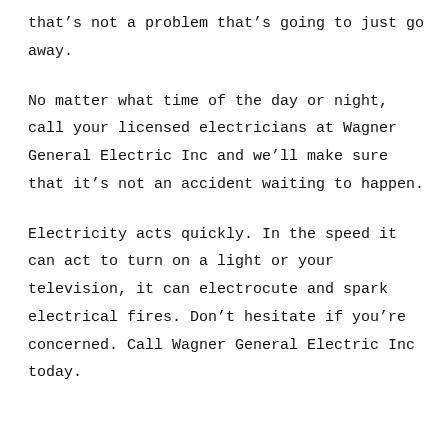that's not a problem that's going to just go away.
No matter what time of the day or night, call your licensed electricians at Wagner General Electric Inc and we'll make sure that it's not an accident waiting to happen.
Electricity acts quickly. In the speed it can act to turn on a light or your television, it can electrocute and spark electrical fires. Don't hesitate if you're concerned. Call Wagner General Electric Inc today.